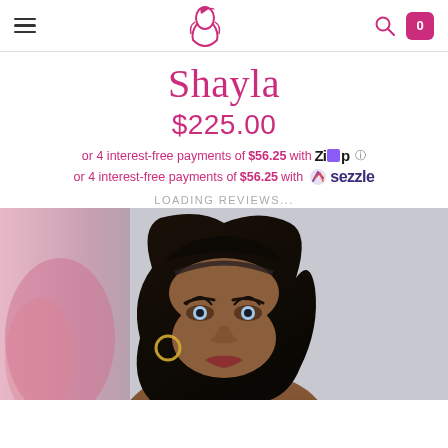[Figure (screenshot): Website header with hamburger menu icon on left, pink illustrated woman logo in center, search icon and pink cart icon (showing 0) on right]
Shayla
$225.00
or 4 interest-free payments of $56.25 with Zip
or 4 interest-free payments of $56.25 with Sezzle
LOADING REVIEWS...
[Figure (photo): Close-up photo of a Black woman wearing a long dark wavy wig/hair, with hoop earrings, dramatic eye makeup with long lashes, against a light gray and pink background]